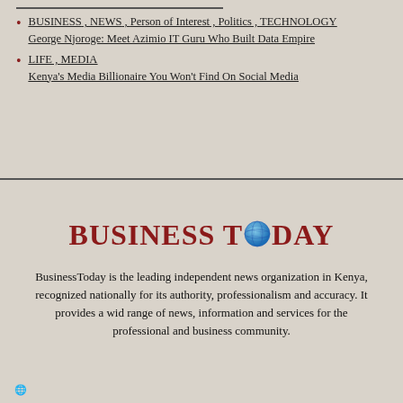BUSINESS , NEWS , Person of Interest , Politics , TECHNOLOGY
George Njoroge: Meet Azimio IT Guru Who Built Data Empire
LIFE , MEDIA
Kenya's Media Billionaire You Won't Find On Social Media
BUSINESS TODAY
BusinessToday is the leading independent news organization in Kenya, recognized nationally for its authority, professionalism and accuracy. It provides a wid range of news, information and services for the professional and business community.